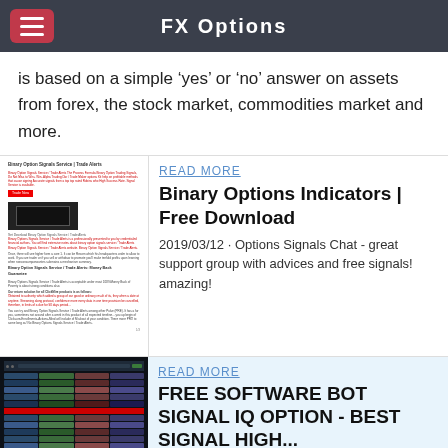FX Options
is based on a simple ‘yes’ or ‘no’ answer on assets from forex, the stock market, commodities market and more.
[Figure (screenshot): Screenshot of Binary Option Signals Service / Trade Alerts webpage]
READ MORE
Binary Options Indicators | Free Download
2019/03/12 · Options Signals Chat - great support group with advices and free signals! amazing!
[Figure (screenshot): Screenshot of dark trading app interface showing signal rows]
READ MORE
FREE SOFTWARE BOT SIGNAL IQ OPTION - BEST SIGNAL HIGH...